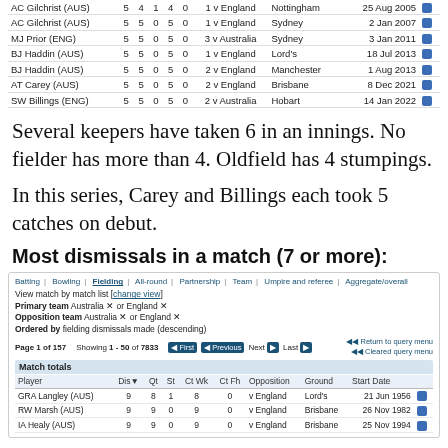| Player | Dis | Qt | St | Ct | Ct Wk | Opposition | Ground | Start Date |  |
| --- | --- | --- | --- | --- | --- | --- | --- | --- | --- |
| AC Gilchrist (AUS) | 5 | 4 | 1 | 4 | 0 | 1 v England | Nottingham | 25 Aug 2005 |  |
| AC Gilchrist (AUS) | 5 | 5 | 0 | 5 | 0 | 1 v England | Sydney | 2 Jan 2007 |  |
| MJ Prior (ENG) | 5 | 5 | 0 | 5 | 0 | 3 v Australia | Sydney | 3 Jan 2011 |  |
| BJ Haddin (AUS) | 5 | 5 | 0 | 5 | 0 | 1 v England | Lord's | 18 Jul 2013 |  |
| BJ Haddin (AUS) | 5 | 5 | 0 | 5 | 0 | 2 v England | Manchester | 1 Aug 2013 |  |
| AT Carey (AUS) | 5 | 5 | 0 | 5 | 0 | 2 v England | Brisbane | 8 Dec 2021 |  |
| SW Billings (ENG) | 5 | 5 | 0 | 5 | 0 | 2 v Australia | Hobart | 14 Jan 2022 |  |
Several keepers have taken 6 in an innings. No fielder has more than 4. Oldfield has 4 stumpings.
In this series, Carey and Billings each took 5 catches on debut.
Most dismissals in a match (7 or more):
| Player | Dis▼ | Qt | St | Ct Wk | Ct Fh | Opposition | Ground | Start Date |  |
| --- | --- | --- | --- | --- | --- | --- | --- | --- | --- |
| GRA Langley (AUS) | 9 | 8 | 1 | 8 | 0 | v England | Lord's | 21 Jun 1956 |  |
| RW Marsh (AUS) | 9 | 9 | 0 | 9 | 0 | v England | Brisbane | 26 Nov 1982 |  |
| IA Healy (AUS) | 9 | 9 | 0 | 9 | 0 | v England | Brisbane | 25 Nov 1994 |  |